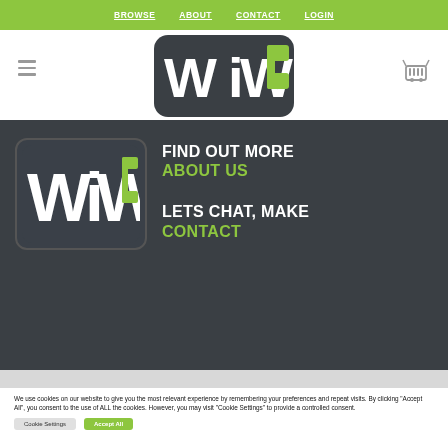BROWSE  ABOUT  CONTACT  LOGIN
[Figure (logo): WiWe logo - dark rounded rectangle with white W, i, W and green e letters]
[Figure (logo): WiWe logo small version on dark background]
FIND OUT MORE
ABOUT US

LETS CHAT, MAKE
CONTACT
We use cookies on our website to give you the most relevant experience by remembering your preferences and repeat visits. By clicking "Accept All", you consent to the use of ALL the cookies. However, you may visit "Cookie Settings" to provide a controlled consent.